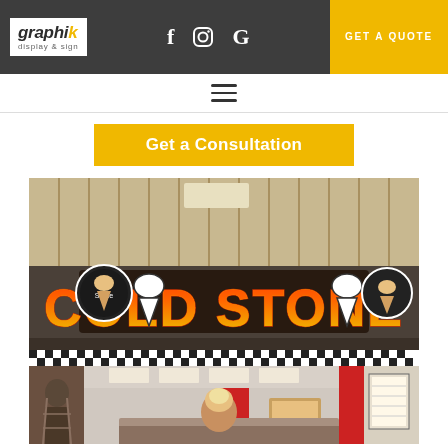[Figure (logo): Graphik Display & Sign logo — white box with italic bold text and yellow dot accent]
[Figure (screenshot): Website header navigation bar with Facebook, Instagram, Google icons and golden 'GET A QUOTE' button on dark grey background]
≡  (hamburger menu icon)
Get a Consultation
[Figure (photo): Cold Stone Creamery store sign — illuminated 'COLD STONE' letters in red and yellow with ice cream cone logos on either side, inside a mall storefront with black and white checkered trim and red interior walls]